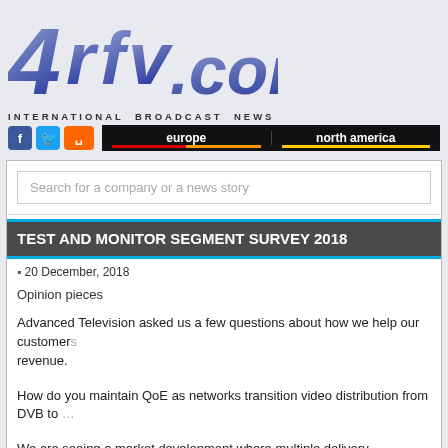[Figure (logo): 4rfv.com International Broadcast News logo with stylized purple/blue 3D lettering]
INTERNATIONAL BROADCAST NEWS
[Figure (infographic): Navigation bar with Facebook, Twitter, RSS social buttons and europe / north america navigation links]
[Figure (screenshot): Search box: Search for a company or a news story]
TEST AND MONITOR SEGMENT SURVEY 2018
20 December, 2018
Opinion pieces
Advanced Television asked us a few questions about how we help our customers … revenue.
How do you maintain QoE as networks transition video distribution from DVB to …
We are seeing a market development where multiple delivery technologies are used … service and where technology development is always ongoing - low latency strea… instance. By creating technical transparency and using data-driven ways of work…